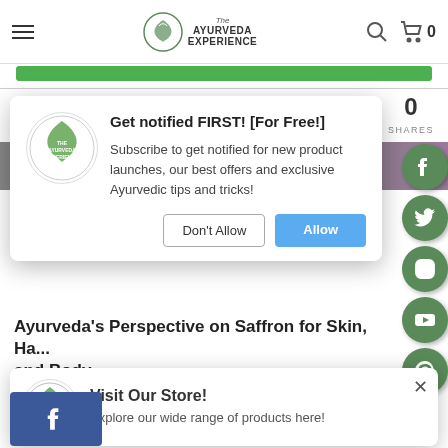[Figure (screenshot): The Ayurveda Experience website navigation bar with hamburger menu, logo, search icon, and cart (0 items)]
Also in The Ayurveda Experience
[Figure (screenshot): Browser notification popup: Get notified FIRST! [For Free!] — Subscribe to get notified for new product launches, our best offers and exclusive Ayurvedic tips and tricks! — Don't Allow | Allow buttons]
Ayurveda's Perspective on Saffron for Skin, Hair and Body
Ayurvedic medicine highlighted...
[Figure (screenshot): Visit Our Store popup — Explore our wide range of products here!]
[Figure (screenshot): Social share icons: Facebook, Twitter, Instagram, YouTube, Pinterest on right edge]